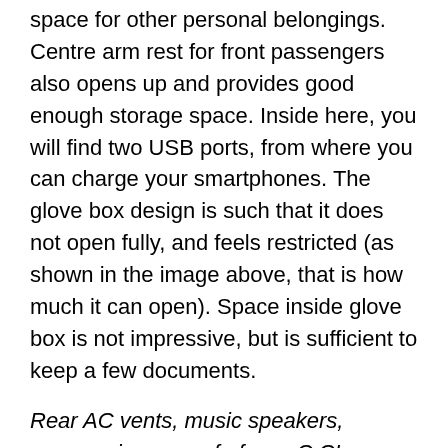space for other personal belongings. Centre arm rest for front passengers also opens up and provides good enough storage space. Inside here, you will find two USB ports, from where you can charge your smartphones. The glove box design is such that it does not open fully, and feels restricted (as shown in the image above, that is how much it can open). Space inside glove box is not impressive, but is sufficient to keep a few documents.
Rear AC vents, music speakers, panoramic sun-roof of new C CLass.
The front-seat's electronic adjustment controls are designed in the same way as seen on the S Class. Fitted on the front door, they are are finished in matte titanium. Other important aspect of the cabin is state of the art Burmester surround system with 13 speakers. These provide excellent music listening experience. The huge